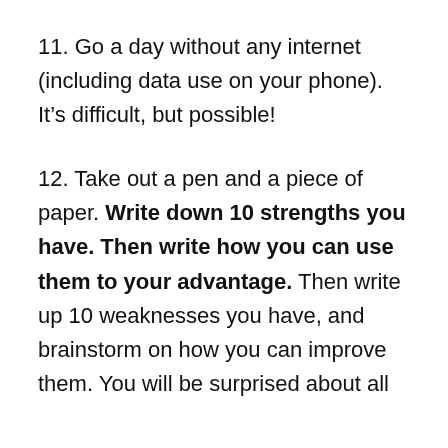11. Go a day without any internet (including data use on your phone). It's difficult, but possible!
12. Take out a pen and a piece of paper. Write down 10 strengths you have. Then write how you can use them to your advantage. Then write up 10 weaknesses you have, and brainstorm on how you can improve them. You will be surprised about all